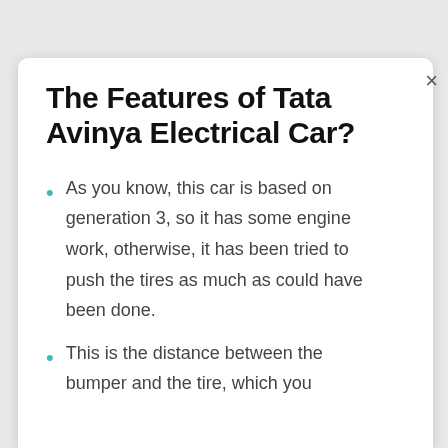The Features of Tata Avinya Electrical Car?
As you know, this car is based on generation 3, so it has some engine work, otherwise, it has been tried to push the tires as much as could have been done.
This is the distance between the bumper and the tire, which you